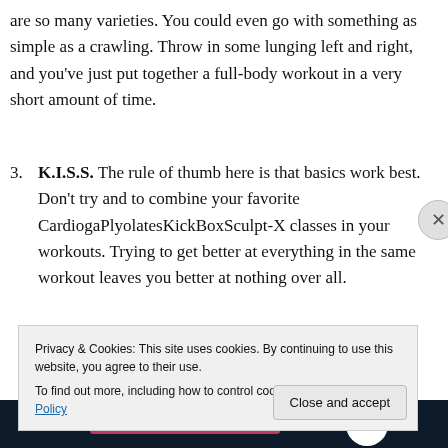are so many varieties. You could even go with something as simple as a crawling. Throw in some lunging left and right, and you've just put together a full-body workout in a very short amount of time.
3. K.I.S.S. The rule of thumb here is that basics work best. Don't try and to combine your favorite CardiogaPlyolatesKickBoxSculpt-X classes in your workouts. Trying to get better at everything in the same workout leaves you better at nothing over all.
[Figure (photo): Partial image with dark background, pink bar, and white circle visible at bottom of page]
Privacy & Cookies: This site uses cookies. By continuing to use this website, you agree to their use.
To find out more, including how to control cookies, see here: Cookie Policy